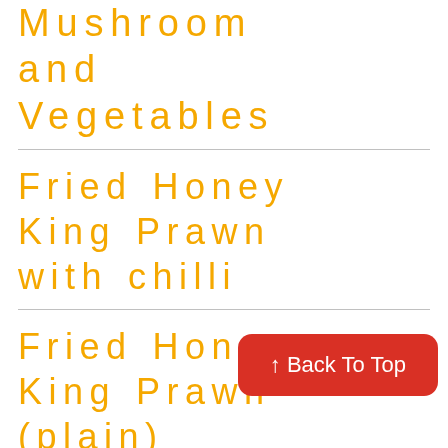Mushroom and Vegetables
Fried Honey King Prawn with chilli
Fried Honey King Prawn (plain)
Fried Honey King Prawn with crushed